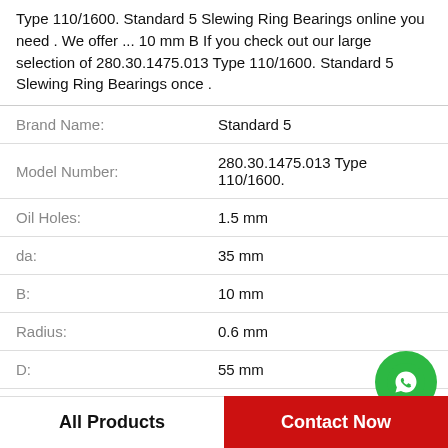Type 110/1600. Standard 5 Slewing Ring Bearings online you need . We offer ... 10 mm B If you check out our large selection of 280.30.1475.013 Type 110/1600. Standard 5 Slewing Ring Bearings once .
| Property | Value |
| --- | --- |
| Brand Name: | Standard 5 |
| Model Number: | 280.30.1475.013 Type 110/1600. |
| Oil Holes: | 1.5 mm |
| da: | 35 mm |
| B: | 10 mm |
| Radius: | 0.6 mm |
| D: | 55 mm |
| d: | 30 mm |
[Figure (logo): WhatsApp Online contact icon — green circle with white phone handset, labeled WhatsApp Online]
All Products    Contact Now